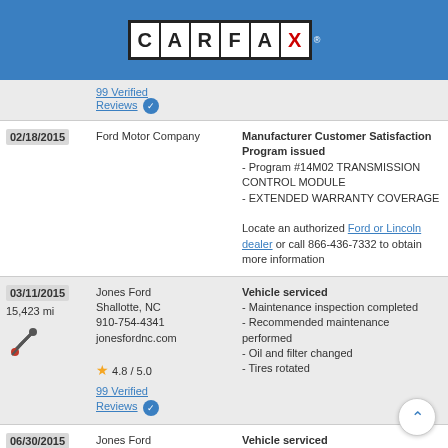[Figure (logo): CARFAX logo — letters C A R F A X in bordered white boxes on a blue header background, with trademark symbol]
99 Verified Reviews ✓
| Date | Dealer | Details |
| --- | --- | --- |
| 02/18/2015 | Ford Motor Company | Manufacturer Customer Satisfaction Program issued
- Program #14M02 TRANSMISSION CONTROL MODULE
- EXTENDED WARRANTY COVERAGE

Locate an authorized Ford or Lincoln dealer or call 866-436-7332 to obtain more information |
| 03/11/2015
15,423 mi | Jones Ford
Shallotte, NC
910-754-4341
jonesfordnc.com
★ 4.8 / 5.0
99 Verified Reviews ✓ | Vehicle serviced
- Maintenance inspection completed
- Recommended maintenance performed
- Oil and filter changed
- Tires rotated |
| 06/30/2015
20,602 mi | Jones Ford
Shallotte, NC
910-754-4341
jonesfordnc.com | Vehicle serviced
- Maintenance inspection compl...
- Recommended maintenance performed |